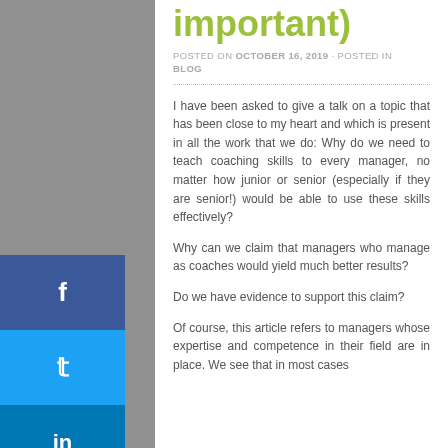important)
POSTED ON OCTOBER 16, 2019 · POSTED IN BLOG
I have been asked to give a talk on a topic that has been close to my heart and which is present in all the work that we do: Why do we need to teach coaching skills to every manager, no matter how junior or senior (especially if they are senior!) would be able to use these skills effectively?
Why can we claim that managers who manage as coaches would yield much better results?
Do we have evidence to support this claim?
Of course, this article refers to managers whose expertise and competence in their field are in place. We see that in most cases